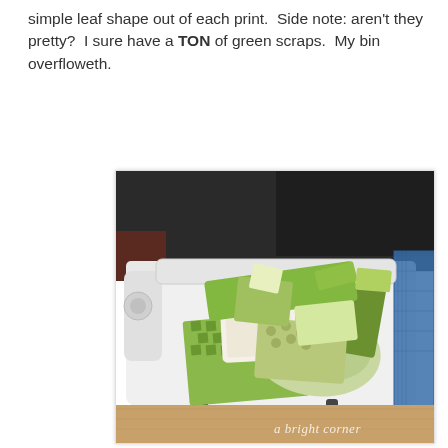simple leaf shape out of each print.  Side note: aren't they pretty?  I sure have a TON of green scraps.  My bin overfloweth.
[Figure (photo): A pile of green fabric scraps in various prints and patterns stacked on top of a white sewing machine table. A cutting mat is visible in the background. Watermark reads 'a bright corner'.]